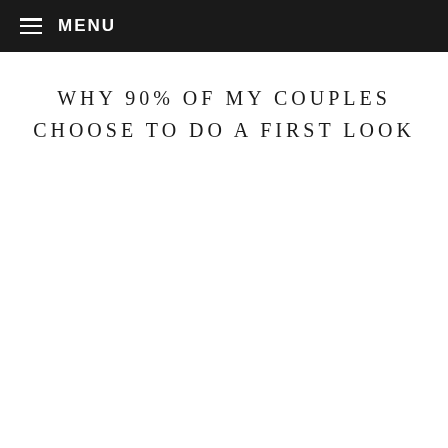MENU
WHY 90% OF MY COUPLES CHOOSE TO DO A FIRST LOOK